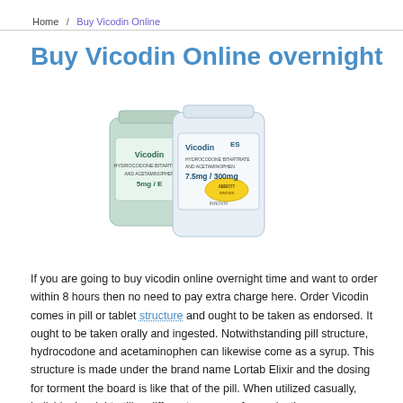Home / Buy Vicodin Online
Buy Vicodin Online overnight
[Figure (photo): Two white pill bottles of Vicodin medication — one regular Vicodin and one Vicodin ES (7.5mg/300mg), placed side by side on a white background.]
If you are going to buy vicodin online overnight time and want to order within 8 hours then no need to pay extra charge here. Order Vicodin comes in pill or tablet structure and ought to be taken as endorsed. It ought to be taken orally and ingested. Notwithstanding pill structure, hydrocodone and acetaminophen can likewise come as a syrup. This structure is made under the brand name Lortab Elixir and the dosing for torment the board is like that of the pill. When utilized casually, individuals might utilize different courses of organization, including a structure and like the. These courses to the medication's